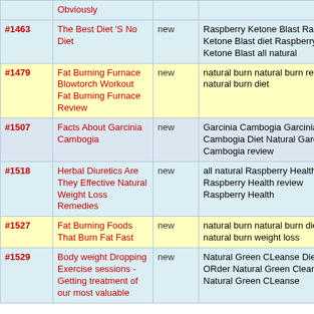| ID | Title | Status | Keywords |
| --- | --- | --- | --- |
|  | Obviously |  |  |
| #1463 | The Best Diet 'S No Diet | new | Raspberry Ketone Blast Raspberry Ketone Blast diet Raspberry Ketone Blast all natural |
| #1479 | Fat Burning Furnace Blowtorch Workout Fat Burning Furnace Review | new | natural burn natural burn review natural burn diet |
| #1507 | Facts About Garcinia Cambogia | new | Garcinia Cambogia Garcinia Cambogia Diet Natural Garcinia Cambogia review |
| #1518 | Herbal Diuretics Are They Effective Natural Weight Loss Remedies | new | all natural Raspberry Health Raspberry Health review Raspberry Health |
| #1527 | Fat Burning Foods That Burn Fat Fast | new | natural burn natural burn diet natural burn weight loss |
| #1529 | Body weight Dropping Exercise sessions - Getting treatment of our most valuable | new | Natural Green CLeanse Diets ORder Natural Green Cleanse Natural Green CLeanse |